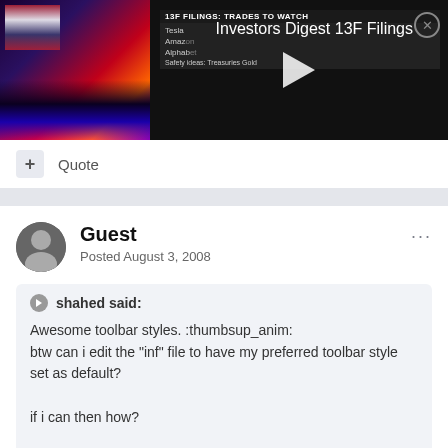[Figure (screenshot): Video thumbnail showing a financial news broadcast about 13F Filings with stocks listed (Tesla, Amaz[on], Alphab[et], Safety ideas: Treasuries Gold) and a play button overlay. Title reads 'Investors Digest 13F Filings' on black background.]
+ Quote
Guest
Posted August 3, 2008
shahed said:
Awesome toolbar styles. :thumbsup_anim:
btw can i edit the "inf" file to have my preferred toolbar style set as default?

if i can then how?

thanks